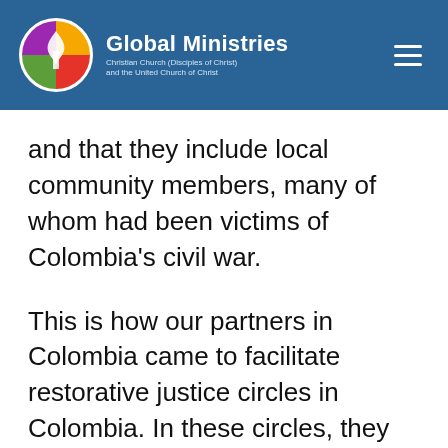Global Ministries — Christian Church (Disciples of Christ) and the United Church of Christ
and that they include local community members, many of whom had been victims of Colombia's civil war.
This is how our partners in Colombia came to facilitate restorative justice circles in Colombia. In these circles, they talked for hours about the central questions of restorative justice: What do those who have suffered harm (sometimes called victims) need to be restored and be able to move forward with renewed strength? And after dealing with